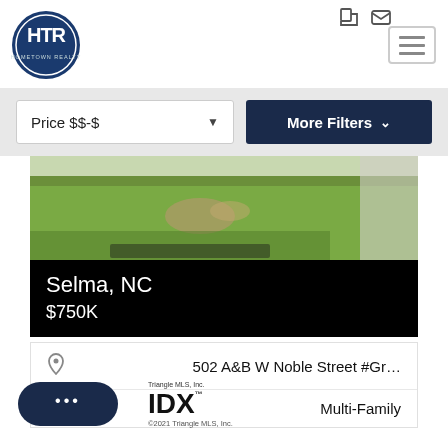[Figure (logo): HTR Hometown Realty circular blue logo]
[Figure (screenshot): Hamburger menu button (three horizontal lines)]
[Figure (screenshot): UI filter bar with Price $$-$ dropdown and More Filters button]
[Figure (photo): Aerial/ground photo of grass lawn area]
Selma, NC
$750K
502 A&B W Noble Street #Gr…
Type
Multi-Family
[Figure (logo): Triangle MLS IDX logo with copyright 2021 Triangle MLS, Inc.]
[Figure (screenshot): Dark navy chat bubble button with three dots]